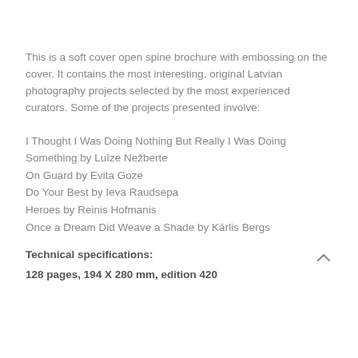This is a soft cover open spine brochure with embossing on the cover. It contains the most interesting, original Latvian photography projects selected by the most experienced curators. Some of the projects presented involve:
I Thought I Was Doing Nothing But Really I Was Doing Something by Luīze Nežberte
On Guard by Evita Goze
Do Your Best by Ieva Raudsepa
Heroes by Reinis Hofmanis
Once a Dream Did Weave a Shade by Kārlis Bergs
Technical specifications:
128 pages, 194 X 280 mm, edition 420